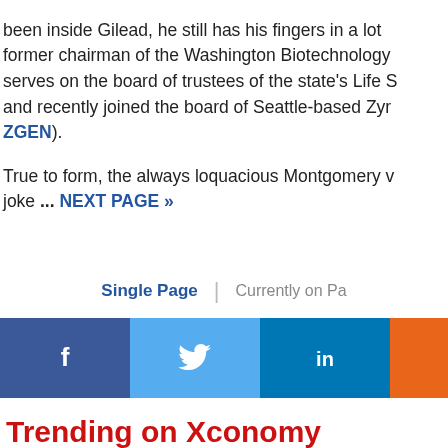been inside Gilead, he still has his fingers in a lot of pies: he's a former chairman of the Washington Biotechnology & Biomedical Association, serves on the board of trustees of the state's Life Science Discovery Fund, and recently joined the board of Seattle-based Zymogenetics (NASDAQ: ZGEN).
True to form, the always loquacious Montgomery w… joke ... NEXT PAGE »
Single Page | Currently on Pa…
[Figure (infographic): Social sharing buttons: Facebook (dark blue), Twitter (light blue), LinkedIn (dark blue), and an orange button]
Trending on Xconomy
[Figure (photo): Two thumbnail images side by side below the Trending on Xconomy heading]